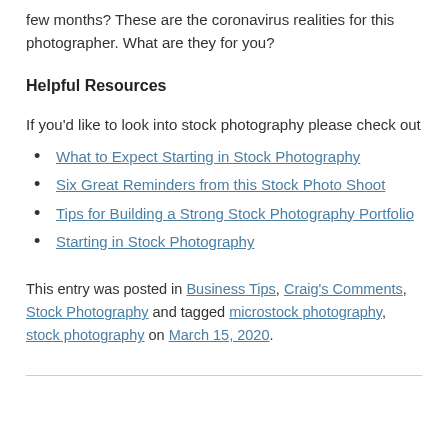few months? These are the coronavirus realities for this photographer. What are they for you?
Helpful Resources
If you'd like to look into stock photography please check out
What to Expect Starting in Stock Photography
Six Great Reminders from this Stock Photo Shoot
Tips for Building a Strong Stock Photography Portfolio
Starting in Stock Photography
This entry was posted in Business Tips, Craig's Comments, Stock Photography and tagged microstock photography, stock photography on March 15, 2020.